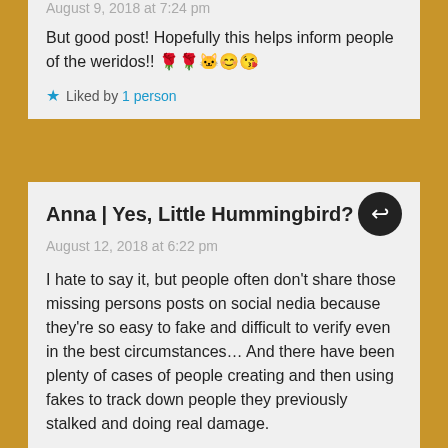August 9, 2018 at 7:24 pm
But good post! Hopefully this helps inform people of the weridos!! 🌹🌹🐱😊😘
Liked by 1 person
Anna | Yes, Little Hummingbird?
August 12, 2018 at 6:22 pm
I hate to say it, but people often don't share those missing persons posts on social nedia because they're so easy to fake and difficult to verify even in the best circumstances… And there have been plenty of cases of people creating and then using fakes to track down people they previously stalked and doing real damage.
With the damage it can do- and has done- it's